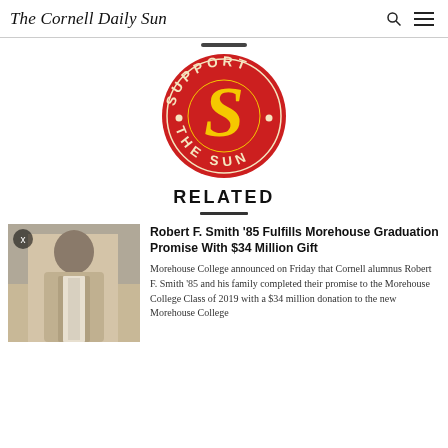The Cornell Daily Sun
[Figure (logo): Support The Sun circular logo — red circle with yellow S emblem and cream-colored text reading SUPPORT THE SUN around the border]
RELATED
[Figure (photo): Black and white photo of Robert F. Smith standing with arms raised in a suit and vest]
Robert F. Smith '85 Fulfills Morehouse Graduation Promise With $34 Million Gift
Morehouse College announced on Friday that Cornell alumnus Robert F. Smith '85 and his family completed their promise to the Morehouse College Class of 2019 with a $34 million donation to the new Morehouse College